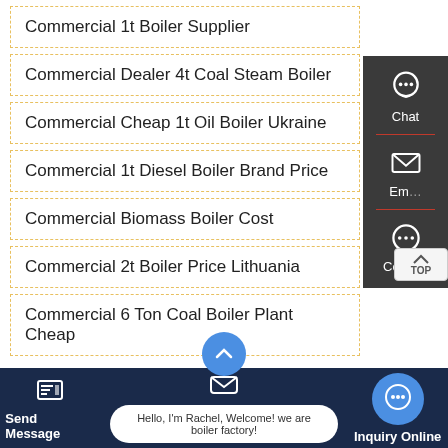Commercial 1t Boiler Supplier
Commercial Dealer 4t Coal Steam Boiler
Commercial Cheap 1t Oil Boiler Ukraine
Commercial 1t Diesel Boiler Brand Price
Commercial Biomass Boiler Cost
Commercial 2t Boiler Price Lithuania
Commercial 6 Ton Coal Boiler Plant Cheap
[Figure (infographic): Right-side floating widget panel with Chat, Email, and Contact icons on dark background, plus a TOP scroll button]
Send Message | Hello, I'm Rachel, Welcome! we are boiler factory! | Inquiry Online